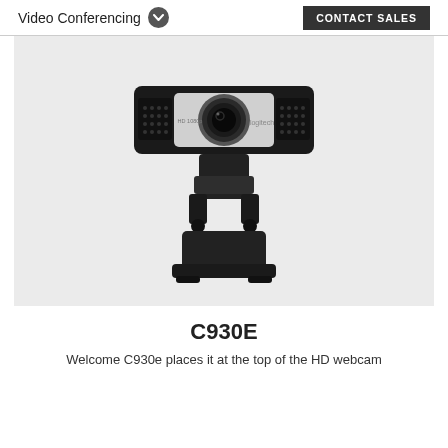Video Conferencing   CONTACT SALES
[Figure (photo): Logitech C930E HD webcam product photo, front view, showing black rectangular body with silver center panel, large lens, speaker grilles on both sides, and adjustable clip/stand base]
C930E
Welcome C930e places it at the top of the HD webcam